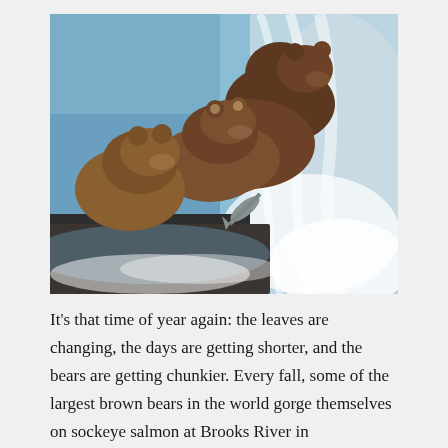[Figure (photo): Three brown bears standing at the edge of a waterfall at Brooks River, watching a salmon leap upstream through the white rushing water.]
It's that time of year again: the leaves are changing, the days are getting shorter, and the bears are getting chunkier. Every fall, some of the largest brown bears in the world gorge themselves on sockeye salmon at Brooks River in